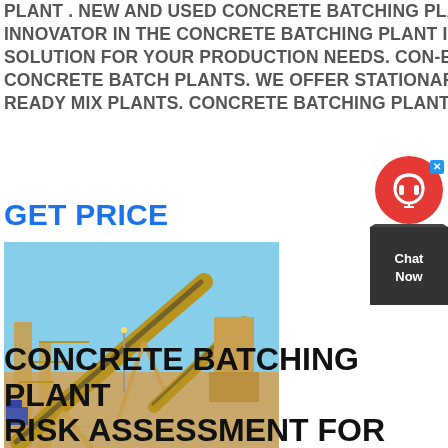PLANT . NEW AND USED CONCRETE BATCHING PLANT FOR SALE. WE ARE THE LEADING INNOVATOR IN THE CONCRETE BATCHING PLANT INDUSTRY. WE CAN CUSTOM DESIGN A SOLUTION FOR YOUR PRODUCTION NEEDS. CON-E-CO OFFERS A FULL LINE OF INNOVATIVE CONCRETE BATCH PLANTS. WE OFFER STATIONARY AND TRANSIT PLANTS, AND CENTRAL AND READY MIX PLANTS. CONCRETE BATCHING PLANTS ARE
GET PRICE
[Figure (photo): Photograph of a yellow concrete batching plant / industrial conveyor system on a dirt ground with a blue sky background]
[Figure (other): Chat Now widget with red circle containing headset icon and dark triangular chat now box]
CONCRETE BATCHING PLANT RISK ASSESSMENT FOR